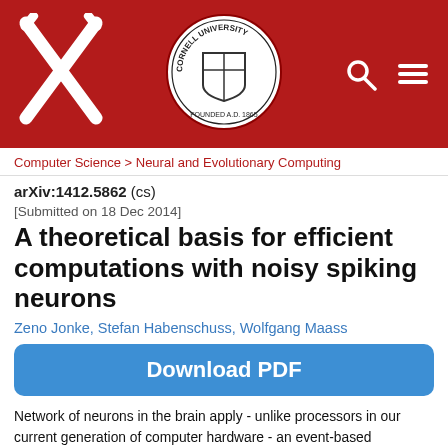[Figure (logo): arXiv and Cornell University header bar with arxiv logo (X), Cornell seal, search and menu icons on red background]
Computer Science > Neural and Evolutionary Computing
arXiv:1412.5862 (cs)
[Submitted on 18 Dec 2014]
A theoretical basis for efficient computations with noisy spiking neurons
Zeno Jonke, Stefan Habenschuss, Wolfgang Maass
Download PDF
Network of neurons in the brain apply - unlike processors in our current generation of computer hardware - an event-based processing strategy, where short pulses (spikes) are emitted sparsely by neurons to signal the occurrence of an event at a particular point in time. Such spike-based computations promise to be substantially more power-efficient than traditional clocked processing schemes.